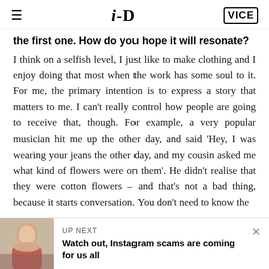i-D | VICE
the first one. How do you hope it will resonate?
I think on a selfish level, I just like to make clothing and I enjoy doing that most when the work has some soul to it. For me, the primary intention is to express a story that matters to me. I can't really control how people are going to receive that, though. For example, a very popular musician hit me up the other day, and said 'Hey, I was wearing your jeans the other day, and my cousin asked me what kind of flowers were on them'. He didn't realise that they were cotton flowers – and that's not a bad thing, because it starts conversation. You don't need to know the
UP NEXT
Watch out, Instagram scams are coming for us all